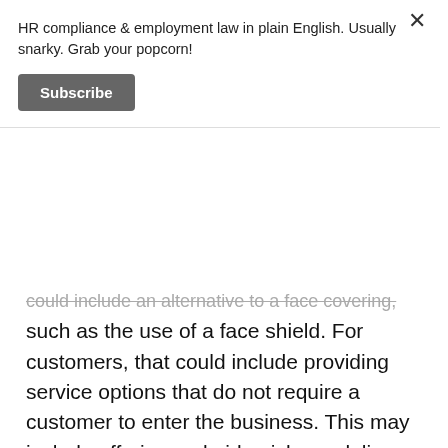HR compliance & employment law in plain English. Usually snarky. Grab your popcorn!
Subscribe
could include an alternative to a face covering, such as the use of a face shield. For customers, that could include providing service options that do not require a customer to enter the business. This may include offering curbside pick-up, delivery, or other innovative solutions.
You'll also need to post prominent signs visible to all people, stating that the Secretary of Health requires face coverings.
And if you are attending Thanksgiving with